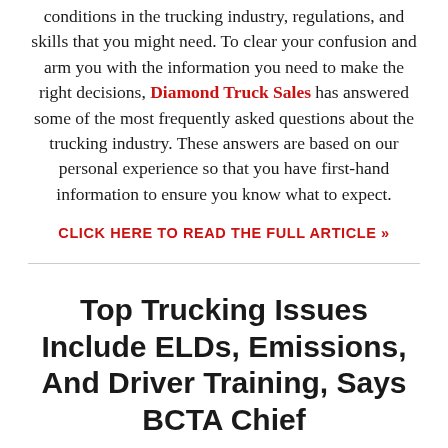conditions in the trucking industry, regulations, and skills that you might need. To clear your confusion and arm you with the information you need to make the right decisions, Diamond Truck Sales has answered some of the most frequently asked questions about the trucking industry. These answers are based on our personal experience so that you have first-hand information to ensure you know what to expect.
CLICK HERE TO READ THE FULL ARTICLE »
Top Trucking Issues Include ELDs, Emissions, And Driver Training, Says BCTA Chief
Author: External Author |